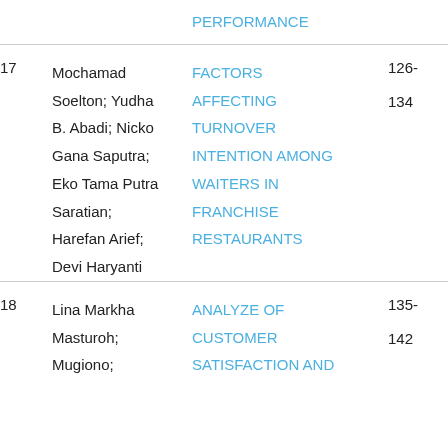| No | Author | Title | Pages |
| --- | --- | --- | --- |
|  |  | PERFORMANCE |  |
| 17 | Mochamad Soelton; Yudha B. Abadi; Nicko Gana Saputra; Eko Tama Putra Saratian; Harefan Arief; Devi Haryanti | FACTORS AFFECTING TURNOVER INTENTION AMONG WAITERS IN FRANCHISE RESTAURANTS | 126-134 |
| 18 | Lina Markha Masturoh; Mugiono; | ANALYZE OF CUSTOMER SATISFACTION AND | 135-142 |